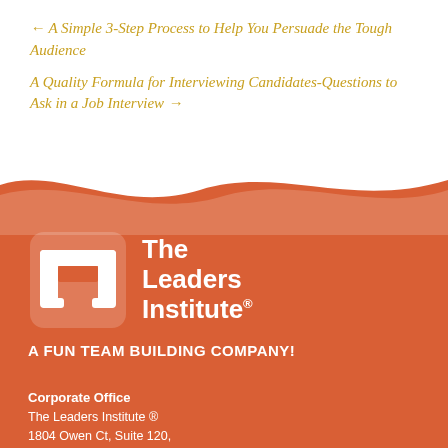← A Simple 3-Step Process to Help You Persuade the Tough Audience
A Quality Formula for Interviewing Candidates-Questions to Ask in a Job Interview →
[Figure (illustration): Wave divider separating white top section from orange bottom section]
[Figure (logo): The Leaders Institute logo — white TLI icon with text 'The Leaders Institute®' on orange background]
A FUN TEAM BUILDING COMPANY!
Corporate Office
The Leaders Institute ®
1804 Owen Ct, Suite 120,
Mansfield, TX 76063